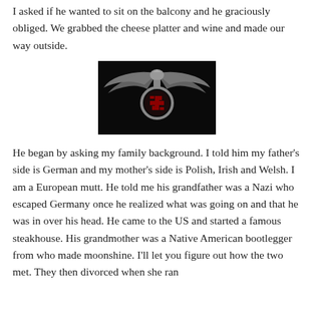I asked if he wanted to sit on the balcony and he graciously obliged. We grabbed the cheese platter and wine and made our way outside.
[Figure (photo): A dark image of a Nazi eagle emblem with spread wings perched atop a wreath containing a swastika, rendered in silver/metallic tones against a black background.]
He began by asking my family background. I told him my father's side is German and my mother's side is Polish, Irish and Welsh. I am a European mutt. He told me his grandfather was a Nazi who escaped Germany once he realized what was going on and that he was in over his head. He came to the US and started a famous steakhouse. His grandmother was a Native American bootlegger from who made moonshine. I'll let you figure out how the two met. They then divorced when she ran